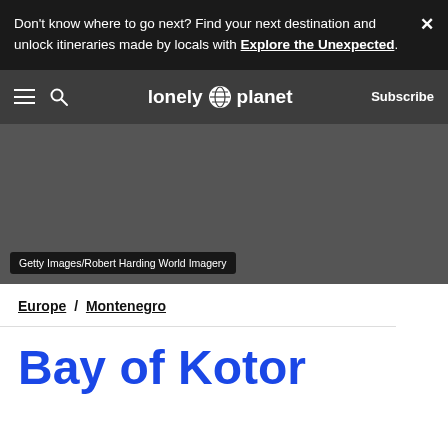Don't know where to go next? Find your next destination and unlock itineraries made by locals with Explore the Unexpected.
[Figure (screenshot): Dark navigation bar with hamburger menu, search icon, Lonely Planet logo with globe icon, and Subscribe button]
[Figure (photo): Hero image placeholder with dark grey background showing Getty Images/Robert Harding World Imagery credit]
Getty Images/Robert Harding World Imagery
Europe / Montenegro
Bay of Kotor